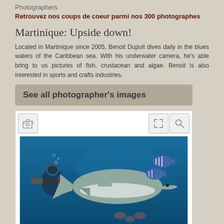Photographers
Retrouvez nos coups de coeur parmi nos 300 photographes
Martinique: Upside down!
Located in Martinique since 2005, Benoit Dupuit dives daily in the blues waters of the Caribbean sea. With his underwater camera, he's able bring to us pictures of fish, crustacean and algae. Benoit is also interested in sports and crafts industries.
See all photographer's images
[Figure (photo): Underwater photo showing a scuba diver with camera equipment facing a large shark, with striped fish in the background, taken in blue Caribbean waters.]